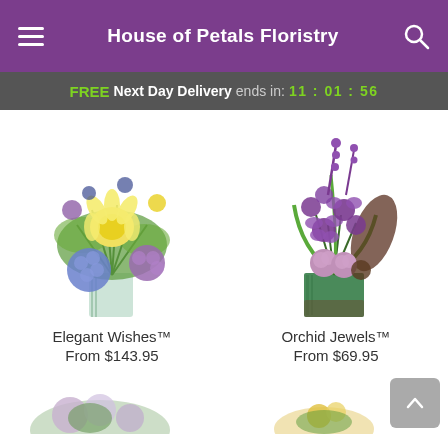House of Petals Floristry
FREE Next Day Delivery ends in: 11:01:56
[Figure (photo): Flower bouquet arrangement with yellow lilies, blue hydrangeas, and purple flowers in a glass vase - Elegant Wishes]
Elegant Wishes™
From $143.95
[Figure (photo): Purple orchid and rose floral arrangement in a green square vase - Orchid Jewels]
Orchid Jewels™
From $69.95
[Figure (photo): Partial view of two more flower arrangements at the bottom of the page]